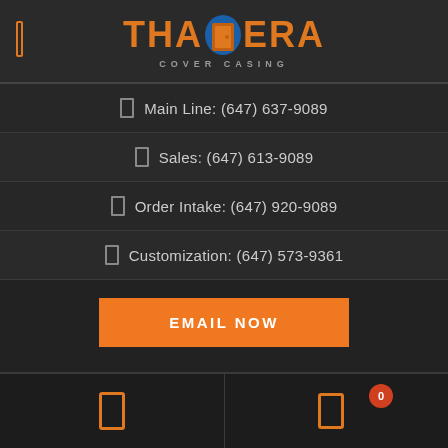[Figure (logo): Thamera Cover Casing logo with orange text and blue/orange door icon in the center]
Main Line: (647) 637-9089
Sales: (647) 613-9089
Order Intake: (647) 920-9089
Customization: (647) 573-9361
EMAIL NOW
[Figure (screenshot): Bottom navigation bar with phone icon on left and shopping cart icon with badge showing 0 on right]